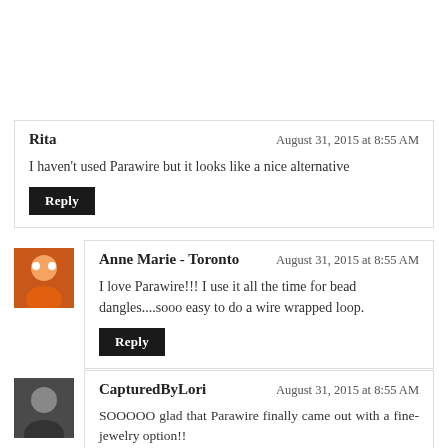Rita — August 31, 2015 at 8:55 AM
I haven't used Parawire but it looks like a nice alternative
[Reply]
Anne Marie - Toronto — August 31, 2015 at 8:55 AM
I love Parawire!!! I use it all the time for bead dangles....sooo easy to do a wire wrapped loop.
[Reply]
CapturedByLori — August 31, 2015 at 8:55 AM
SOOOOO glad that Parawire finally came out with a fine-jewelry option!!
The yellowish tinge you see IS the color of sterling silver, which has a small percentage of copper, which gives all silver products made with or coated with sterling silver. The